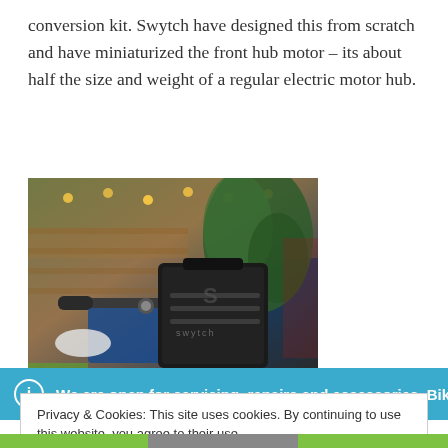conversion kit. Swytch have designed this from scratch and have miniaturized the front hub motor – its about half the size and weight of a regular electric motor hub.
[Figure (photo): Photo of a bicycle handlebar with a black Swytch bag/battery pack attached to the front, in an indoor market or shop setting with plants and string lights in the background.]
We are open for servicing, repairs and accessories. Bike
Privacy & Cookies: This site uses cookies. By continuing to use this website, you agree to their use. To find out more, including how to control cookies, see here: Cookie Policy